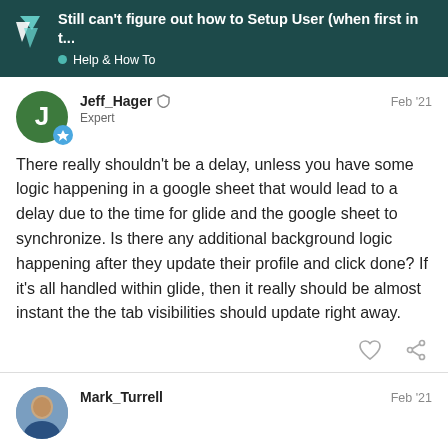Still can't figure out how to Setup User (when first in t... • Help & How To
Jeff_Hager Expert Feb '21
There really shouldn't be a delay, unless you have some logic happening in a google sheet that would lead to a delay due to the time for glide and the google sheet to synchronize. Is there any additional background logic happening after they update their profile and click done? If it's all handled within glide, then it really should be almost instant the the tab visibilities should update right away.
Mark_Turrell Feb '21